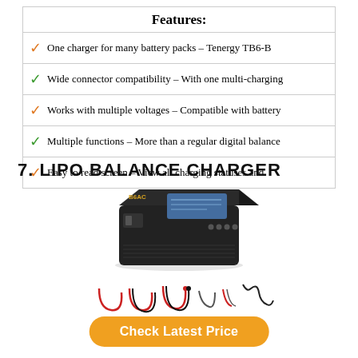Features:
One charger for many battery packs – Tenergy TB6-B
Wide connector compatibility – With one multi-charging
Works with multiple voltages – Compatible with battery
Multiple functions – More than a regular digital balance
Easy to read screen – View all charging statuses and
7. LIPO BALANCE CHARGER
[Figure (photo): B6AC LiPo balance charger device (black box with LCD screen and buttons) shown with various cable accessories including red/black leads and connector cables]
Check Latest Price